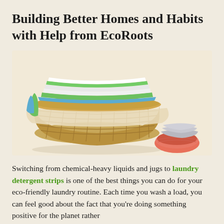Building Better Homes and Habits with Help from EcoRoots
[Figure (photo): A wicker laundry basket filled with neatly stacked, colorful folded towels and linens in white, green, and blue. To the right of the basket are additional rolled towels in coral/orange and gray colors. The background is a warm beige/cream.]
Switching from chemical-heavy liquids and jugs to laundry detergent strips is one of the best things you can do for your eco-friendly laundry routine. Each time you wash a load, you can feel good about the fact that you're doing something positive for the planet rather